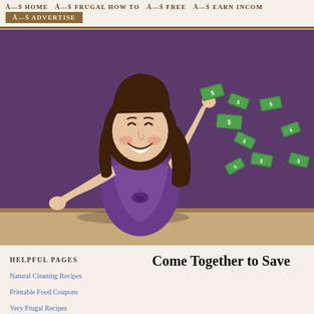Â—Š HOME   Â—Š FRUGAL HOW TO   Â—Š FREE   Â—Š EARN INCOM
Â—Š ADVERTISE
[Figure (illustration): Cartoon illustration of a happy woman with dark hair wearing a purple top, throwing dollar bills in the air against a dark purple background with a wooden floor. Multiple green dollar bills are floating in the air.]
Helpful Pages
Come Together to Save
Natural Cleaning Recipes
Printable Food Coupons
Very Frugal Recipes